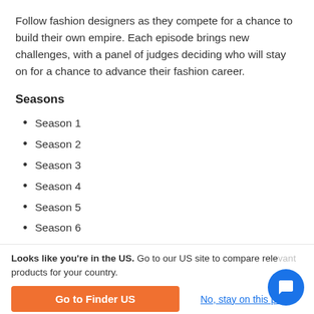Follow fashion designers as they compete for a chance to build their own empire. Each episode brings new challenges, with a panel of judges deciding who will stay on for a chance to advance their fashion career.
Seasons
Season 1
Season 2
Season 3
Season 4
Season 5
Season 6
Season 7
Season 8
Looks like you're in the US. Go to our US site to compare relevant products for your country.
Go to Finder US
No, stay on this page